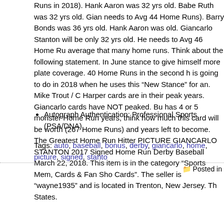Runs in 2018). Hank Aaron was 32 yrs old. Babe Ruth was 32 yrs old. Gian needs to Avg 44 Home Runs). Barry Bonds was 36 yrs old. Hank Aaron was old. Giancarlo Stanton will be only 32 yrs old. He needs to Avg 46 Home Ru average that many home runs. Think about the following statement. In June stance to give himself more plate coverage. 40 Home Runs in the second h is going to do in 2018 when he uses this “New Stance” for an. Mike Trout / C Harper cards are in their peak years. Giancarlo cards have NOT peaked. Bu has 4 or 5 monster Home Run years, think how much this card will be worth (267 Home Runs) and years left to become. The Greatest Home Run Hitter PICTURE GIANCARLO STANTON 2017 Signed Home Run Derby Baseball March 22, 2018. This item is in the category “Sports Mem, Cards & Fan Sho Cards”. The seller is “wayne1935” and is located in Trenton, New Jersey. Th States.
Autograph Authentication: Professional Sports (PSA/DNA)
Tags: auto, baseball, bonus, derby, giancarlo, home, picture, signed, stanto
Posted in